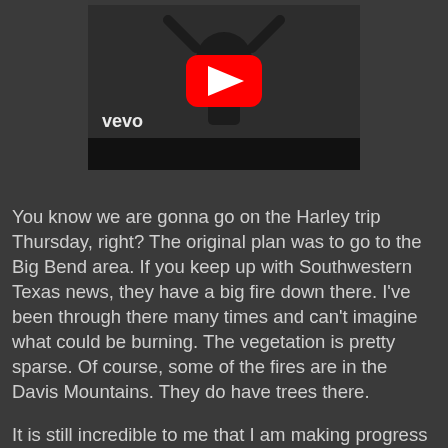[Figure (screenshot): An embedded YouTube/Vevo video thumbnail showing a performer in a dark costume with arms raised, with a red YouTube play button overlay and 'vevo' watermark in the lower left corner.]
You know we are gonna go on the Harley trip Thursday, right? The original plan was to go to the Big Bend area. If you keep up with Southwestern Texas news, they have a big fire down there. I've been through there many times and can't imagine what could be burning. The vegetation is pretty sparse. Of course, some of the fires are in the Davis Mountains. They do have trees there.
It is still incredible to me that I am making progress towards the dream I have had for many years. After